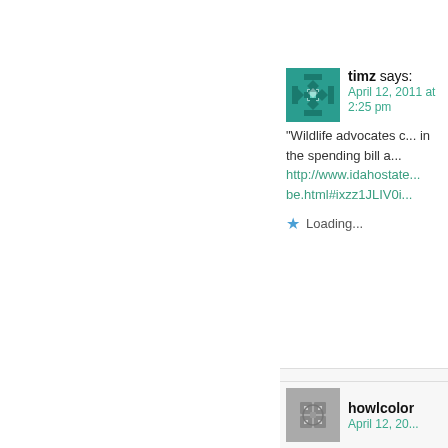timz says:
April 12, 2011 at 2:25 pm
“Wildlife advocates c... in the spending bill a... http://www.idahostate... be.html#ixzz1JLIV0i...

Loading...
Steve C says:
April 12, 2011 at 2:50 pm

If this happens, what... even overturn this for... there must be some w...

Loading...
howlcolor
April 12, 20...